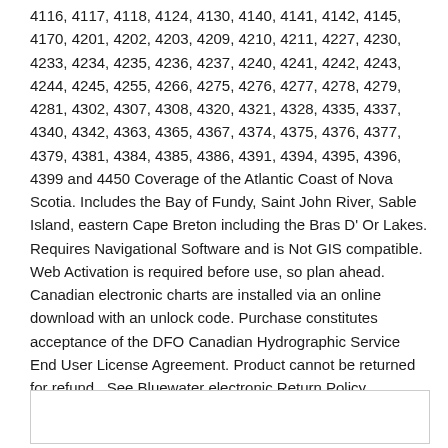4116, 4117, 4118, 4124, 4130, 4140, 4141, 4142, 4145, 4170, 4201, 4202, 4203, 4209, 4210, 4211, 4227, 4230, 4233, 4234, 4235, 4236, 4237, 4240, 4241, 4242, 4243, 4244, 4245, 4255, 4266, 4275, 4276, 4277, 4278, 4279, 4281, 4302, 4307, 4308, 4320, 4321, 4328, 4335, 4337, 4340, 4342, 4363, 4365, 4367, 4374, 4375, 4376, 4377, 4379, 4381, 4384, 4385, 4386, 4391, 4394, 4395, 4396, 4399 and 4450 Coverage of the Atlantic Coast of Nova Scotia. Includes the Bay of Fundy, Saint John River, Sable Island, eastern Cape Breton including the Bras D' Or Lakes. Requires Navigational Software and is Not GIS compatible. Web Activation is required before use, so plan ahead. Canadian electronic charts are installed via an online download with an unlock code. Purchase constitutes acceptance of the DFO Canadian Hydrographic Service End User License Agreement. Product cannot be returned for refund . See Bluewater electronic Return Policy.